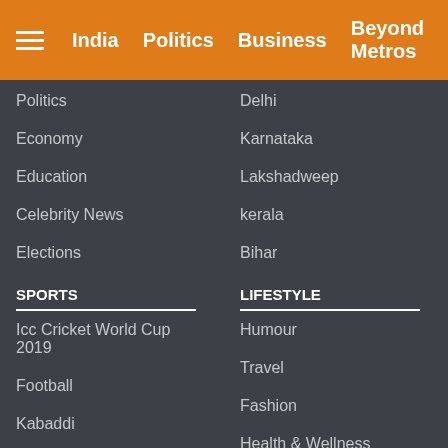India | Politics | Business | Beyond Metros
Politics
Economy
Education
Celebrity News
Elections
SPORTS
Icc Cricket World Cup 2019
Football
Kabaddi
Tennis
Badminton
Delhi
Karnataka
Lakshadweep
kerala
Bihar
LIFESTYLE
Humour
Travel
Fashion
Health & Wellness
Auto